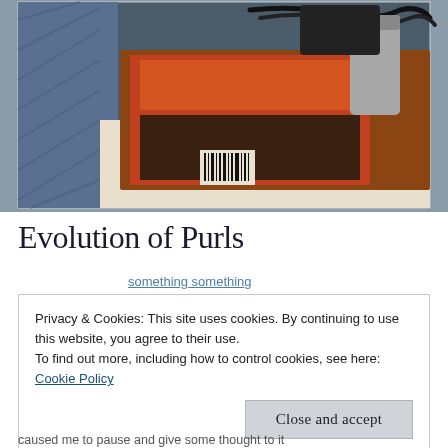[Figure (photo): A photograph showing books stacked on a floral-patterned surface (table or chest), with a blue knitted fabric/blanket visible on the left side. The books have colorful covers and a barcode is visible on the spine. A black coiled cable and some items are on top of the books.]
Evolution of Purls
Privacy & Cookies: This site uses cookies. By continuing to use this website, you agree to their use.
To find out more, including how to control cookies, see here:
Cookie Policy
Close and accept
caused me to pause and give some thought to it